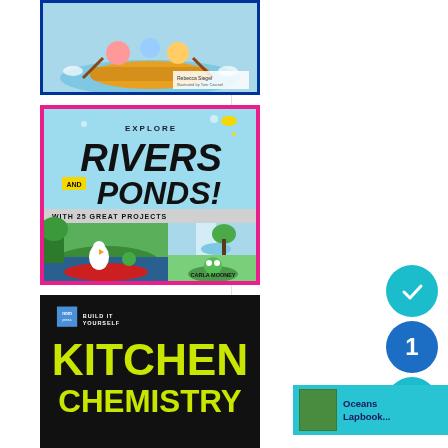[Figure (illustration): Book cover with cartoon characters white water rafting, author Rebecca Siegel, illustrated by Tom Czarnel]
[Figure (illustration): Book cover: Explore Rivers and Ponds! With 25 Great Projects, by Carla Mooney, illustrated by Brann Trane. Pink border, teal background, large bold title, cartoon illustrations of birds canoeing and frogs.]
[Figure (illustration): Book cover: Build It Yourself Kitchen Chemistry, dark background with yellow-green text]
[Figure (illustration): Oceans Lapbook thumbnail with teal notification bar showing text 'Oceans Lapbook...' and blue/teal circular badge elements with number 1]